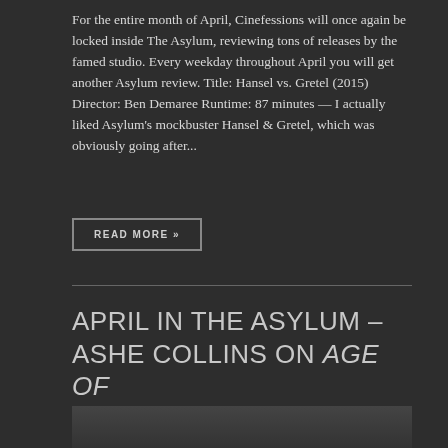For the entire month of April, Cinefessions will once again be locked inside The Asylum, reviewing tons of releases by the famed studio. Every weekday throughout April you will get another Asylum review. Title: Hansel vs. Gretel (2015) Director: Ben Demaree Runtime: 87 minutes — I actually liked Asylum's mockbuster Hansel & Gretel, which was obviously going after...
READ MORE »
APRIL IN THE ASYLUM – ASHE COLLINS ON AGE OF TOMORROW (2014)
[Figure (photo): Bottom portion of a photograph, partially cropped, showing the top of a person's head outdoors]